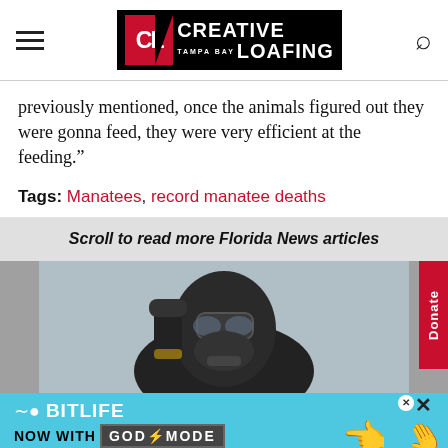Creative Loafing Tampa Bay
previously mentioned, once the animals figured out they were gonna feed, they were very efficient at the feeding.”
Tags: Manatees, record manatee deaths
Scroll to read more Florida News articles
[Figure (photo): Person wearing dark hazmat suit with gas mask and goggles, holding up gloved hand]
[Figure (screenshot): BitLife ad banner - Now with God Mode]